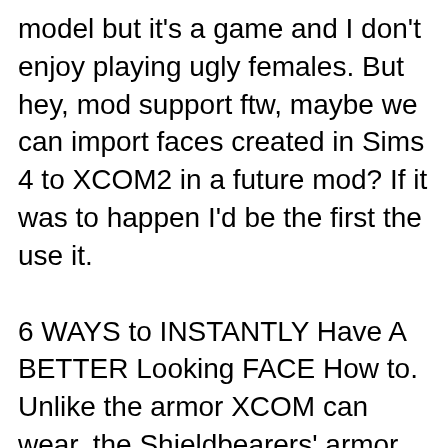model but it's a game and I don't enjoy playing ugly females. But hey, mod support ftw, maybe we can import faces created in Sims 4 to XCOM2 in a future mod? If it was to happen I'd be the first the use it.
6 WAYS to INSTANTLY Have A BETTER Looking FACE How to. Unlike the armor XCOM can wear, the Shieldbearers' armor projections neutralize incoming damage entirely, but also disappear if the Shieldbearer should die. Their weapons aren't great and they can choose poorly which person to shield, making them somewhat akin to the Sectoid of the original XCOMвТі, Operation Iron Face вТ” XCOM 2. XCOM